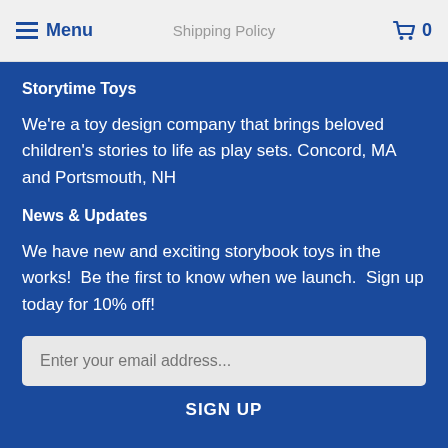Menu  Shipping Policy  🛒 0
Storytime Toys
We're a toy design company that brings beloved children's stories to life as play sets. Concord, MA and Portsmouth, NH
News & Updates
We have new and exciting storybook toys in the works!  Be the first to know when we launch.  Sign up today for 10% off!
Enter your email address...
SIGN UP